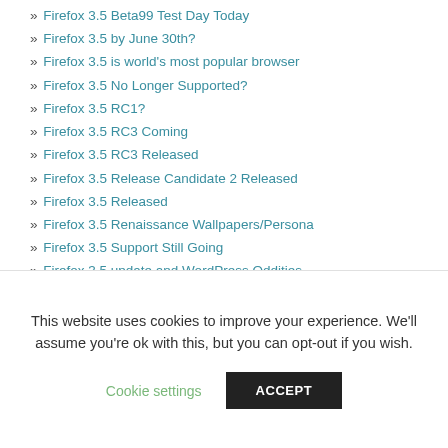» Firefox 3.5 Beta99 Test Day Today
» Firefox 3.5 by June 30th?
» Firefox 3.5 is world's most popular browser
» Firefox 3.5 No Longer Supported?
» Firefox 3.5 RC1?
» Firefox 3.5 RC3 Coming
» Firefox 3.5 RC3 Released
» Firefox 3.5 Release Candidate 2 Released
» Firefox 3.5 Released
» Firefox 3.5 Renaissance Wallpapers/Persona
» Firefox 3.5 Support Still Going
» Firefox 3.5 update and WordPress Oddities
» Firefox 3.5 Updates
» Firefox 3.5 will be faster
» Firefox 3.5.1 Released
» Firefox 3.5.10 Released
» Firefox 3.5.10/3.6.4 Delayed
» Firefox 3.5.10/3.6.4 Still Delayed
This website uses cookies to improve your experience. We'll assume you're ok with this, but you can opt-out if you wish.
Cookie settings | ACCEPT